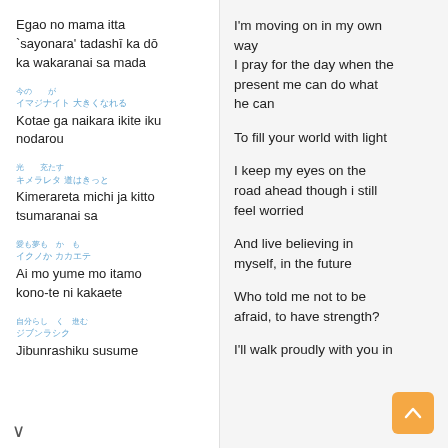Egao no mama itta `sayonara' tadashī ka dō ka wakaranai sa mada
I'm moving on in my own way
[Japanese characters]
Kotae ga naikara ikite iku nodarou
I pray for the day when the present me can do what he can
[Japanese characters]
Kimerareta michi ja kitto tsumaranai sa
To fill your world with light
I keep my eyes on the road ahead though i still feel worried
[Japanese characters]
Ai mo yume mo itamo kono-te ni kakaete
And live believing in myself, in the future
[Japanese characters]
Jibunrashiku susume
Who told me not to be afraid, to have strength?
I'll walk proudly with you in